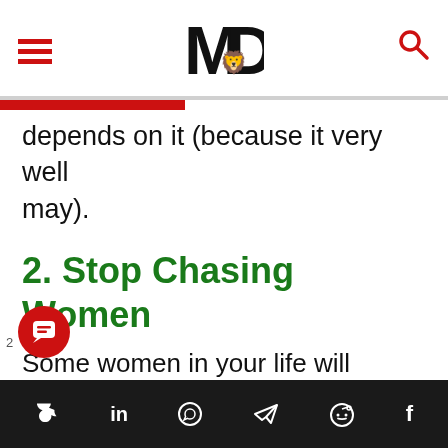MD (logo with hamburger menu and search icon)
depends on it (because it very well may).
2. Stop Chasing Women
Some women in your life will constantly want your validation. You won't be able to go a single hour
Social share icons: Twitter, LinkedIn, WhatsApp, Telegram, Reddit, Facebook